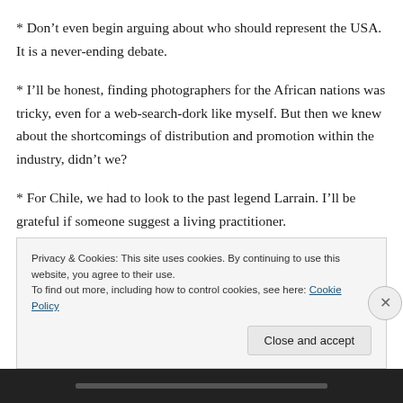* Don’t even begin arguing about who should represent the USA. It is a never-ending debate.
* I’ll be honest, finding photographers for the African nations was tricky, even for a web-search-dork like myself. But then we knew about the shortcomings of distribution and promotion within the industry, didn’t we?
* For Chile, we had to look to the past legend Larrain. I’ll be grateful if someone suggest a living practitioner.
* Not visible (partially cut off)
Privacy & Cookies: This site uses cookies. By continuing to use this website, you agree to their use.
To find out more, including how to control cookies, see here: Cookie Policy